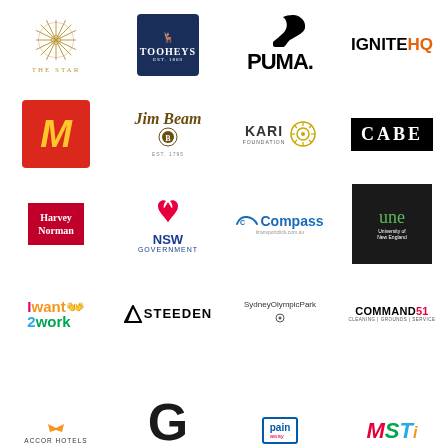[Figure (logo): The Star logo - gold snowflake/star shape with THE STAR text below]
[Figure (logo): Tooheys logo - dark navy box with antler icon and TOOHEYS text]
[Figure (logo): PUMA logo - black PUMA text with leaping cat silhouette]
[Figure (logo): IGNITE HQ logo - black IGNITE text with orange HQ]
[Figure (logo): McDonald's logo - red box with yellow golden arches M]
[Figure (logo): Jim Beam logo - gold/dark text with medallion seal]
[Figure (logo): KARI Foundation logo - bold text with circular sun/gear icon]
[Figure (logo): CABE logo - white text on black rectangle]
[Figure (logo): Harvey Norman logo - white text on red background]
[Figure (logo): NSW Government logo - lotus flower icon with NSW GOVERNMENT text]
[Figure (logo): Compass logo - blue car outline with Compass text and website]
[Figure (logo): UNE University of New England logo - dark box with green une letters]
[Figure (logo): I want 2 work logo - multicolored text with handshake icon]
[Figure (logo): Steeden logo - black text with speed stripe]
[Figure (logo): Sydney Olympic Park logo with circle icon]
[Figure (logo): Command 51 Cleaning Grounds Service logo]
[Figure (logo): Accor Hotels logo]
[Figure (logo): Gatorade logo - large black G]
[Figure (logo): Pain away logo - blue bordered box]
[Figure (logo): MST logo - multicolored italic text]